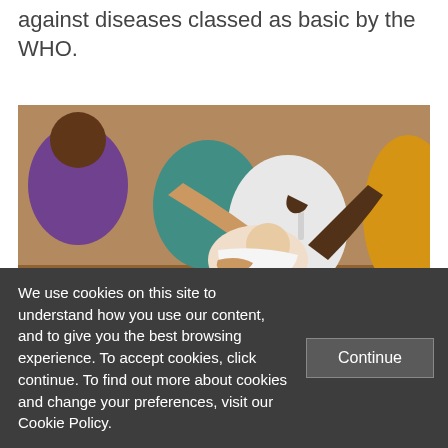against diseases classed as basic by the WHO.
[Figure (photo): Healthcare workers administering oral vaccine to an infant, with multiple hands visible supporting the child.]
Haiti introduces rotavirus vaccine into its routine immunisation programme
We use cookies on this site to understand how you use our content, and to give you the best browsing experience. To accept cookies, click continue. To find out more about cookies and change your preferences, visit our Cookie Policy.